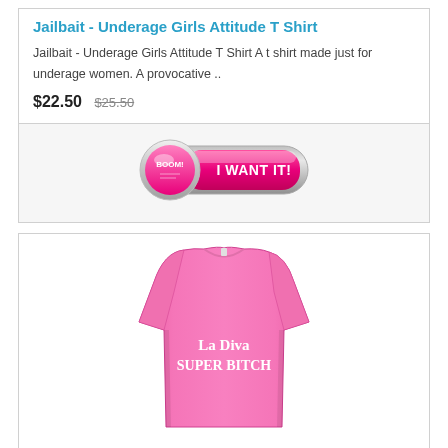Jailbait - Underage Girls Attitude T Shirt
Jailbait - Underage Girls Attitude T Shirt A t shirt made just for underage women. A provocative ..
$22.50  $25.50
[Figure (other): Pink 'I WANT IT!' button with BOOM! emblem]
[Figure (photo): Pink t-shirt with 'La Diva SUPER BITCH' text printed on the front]
La Diva Super Bitch – Bad Attitude T Shirt